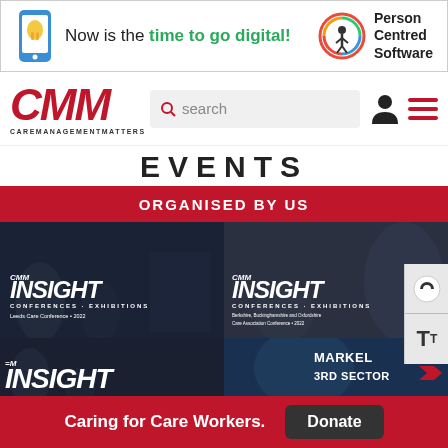[Figure (screenshot): Banner advertisement: Now is the time to go digital! with Person Centred Software logo on right]
[Figure (logo): CMM Care Management Matters logo with search bar and navigation icons]
EVENTS
ORGANISED BY US
[Figure (photo): CMM Insight Conferences Exhibitions - Leeds Care Conference 2022]
[Figure (photo): CMM Insight Conferences Exhibitions - Berkshire, Buckinghamshire and Oxfordshire Care Association Conference 2022]
[Figure (photo): CMM Insight conference event photo]
[Figure (photo): Markel 3rd Sector logo/event photo]
Caring for Care Workers.
Donate